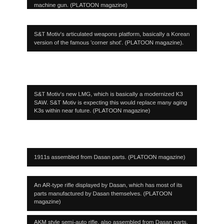machine gun. (PLATOON magazine)
S&T Motiv's articulated weapons platform, basically a Korean version of the famous 'corner shot'. (PLATOON magazine).
S&T Motiv's new LMG, which is basically a modernized K3 SAW. S&T Motiv is expecting this would replace many aging K3s within near future. (PLATOON magazine)
1911s assembled from Dasan parts. (PLATOON magazine)
An AR-type rifle displayed by Dasan, which has most of its parts manufactured by Dasan themselves. (PLATOON magazine)
AKM style semi-auto rifle, also assembled from Dasan parts. (PLATOON magazine)